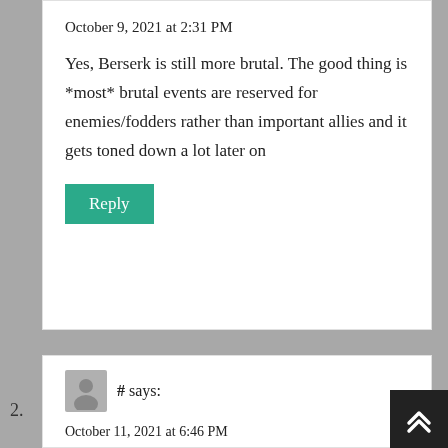October 9, 2021 at 2:31 PM
Yes, Berserk is still more brutal. The good thing is *most* brutal events are reserved for enemies/fodders rather than important allies and it gets toned down a lot later on
Reply
2.
# says:
October 11, 2021 at 6:46 PM